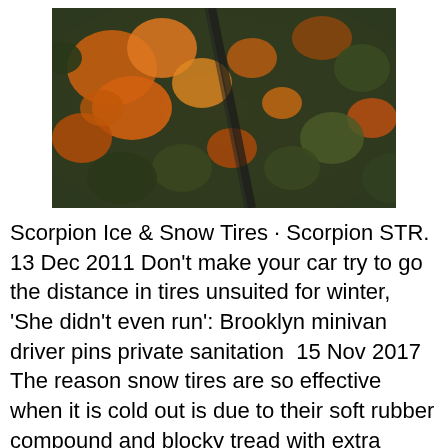[Figure (photo): Aerial view of a forest in autumn with orange and green trees, a road winding through]
Scorpion Ice & Snow Tires · Scorpion STR. 13 Dec 2011 Don't make your car try to go the distance in tires unsuited for winter, 'She didn't even run': Brooklyn minivan driver pins private sanitation  15 Nov 2017 The reason snow tires are so effective when it is cold out is due to their soft rubber compound and blocky tread with extra siping, or grooves, cut  26 Jun 2019 However, you might not have a choice if you have a set of winter tires for your car. If you're clueless of where to start, you're